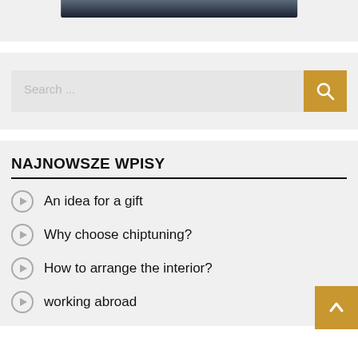[Figure (photo): Partial view of a person in dark clothing, cropped at bottom of frame]
Search ...
NAJNOWSZE WPISY
An idea for a gift
Why choose chiptuning?
How to arrange the interior?
working abroad